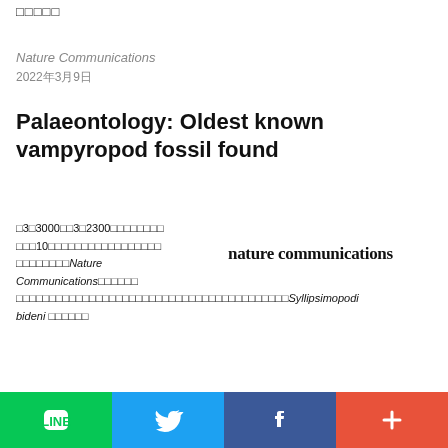□□□□□
Nature Communications
2022年3月9日
Palaeontology: Oldest known vampyropod fossil found
□3□3000□□3□2300□□□□□□□□□□□10□□□□□□□□□□□□□□□□□□□□□□□Nature Communications□□□□□□□□□□□□□□□□□□□□□□□□□□□□□□□□□□□□□□□□□□□□□□□□□Syllipsimopodi bideni □□□□□□
[Figure (logo): nature communications journal logo in bold serif font]
[Figure (infographic): Social share buttons bar: LINE (green), Twitter (blue), Facebook (dark blue), More/Plus (orange-red)]